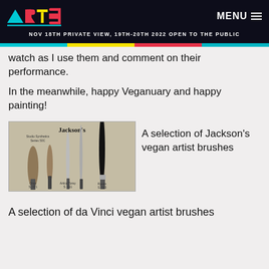ARTS — NOV 18TH PRIVATE VIEW, 19TH-20TH 2022 OPEN TO THE PUBLIC
watch as I use them and comment on their performance.
In the meanwhile, happy Veganuary and happy painting!
[Figure (photo): Jackson's vegan artist brushes product card showing Studio Synthetics Series 50C, Onyx S.371, Artica Toray S.111, and Raven S.523 brushes arranged on a grey background]
A selection of Jackson's vegan artist brushes
A selection of da Vinci vegan artist brushes